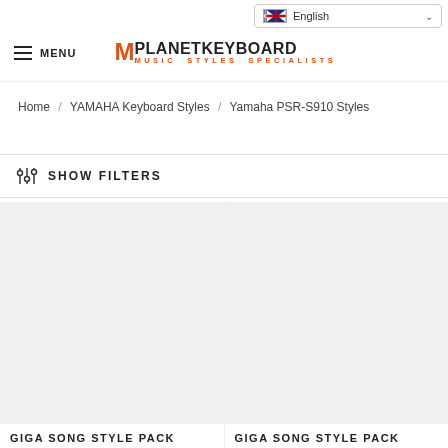English (language selector)
≡ MENU | MPLANETkeyboard MUSIC STYLES SPECIALISTS
Home / YAMAHA Keyboard Styles / Yamaha PSR-S910 Styles
⚙ SHOW FILTERS
GIGA SONG STYLE PACK
GIGA SONG STYLE PACK